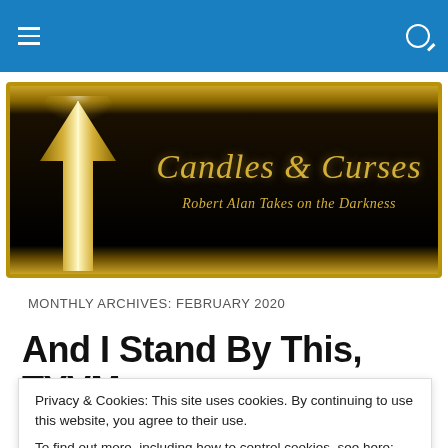Navigation bar with hamburger menu and search icon
[Figure (illustration): Candles & Curses blog banner: black background with gold border, large gold upward arrow on left, decorative script title 'Candles & Curses' in gold, subtitle 'Robert Alan Takes on the Darkness' in gold italic script]
MONTHLY ARCHIVES: FEBRUARY 2020
And I Stand By This, TYVM
Privacy & Cookies: This site uses cookies. By continuing to use this website, you agree to their use.
To find out more, including how to control cookies, see here: Cookie Policy
Close and accept